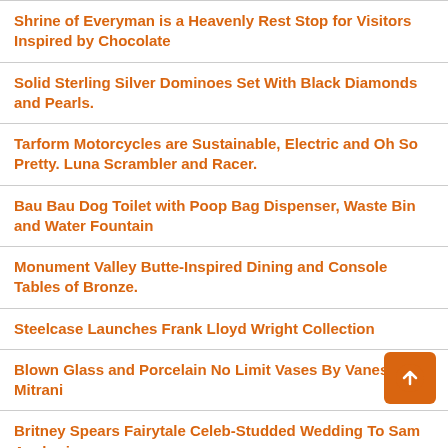Shrine of Everyman is a Heavenly Rest Stop for Visitors Inspired by Chocolate
Solid Sterling Silver Dominoes Set With Black Diamonds and Pearls.
Tarform Motorcycles are Sustainable, Electric and Oh So Pretty. Luna Scrambler and Racer.
Bau Bau Dog Toilet with Poop Bag Dispenser, Waste Bin and Water Fountain
Monument Valley Butte-Inspired Dining and Console Tables of Bronze.
Steelcase Launches Frank Lloyd Wright Collection
Blown Glass and Porcelain No Limit Vases By Vanessa Mitrani
Britney Spears Fairytale Celeb-Studded Wedding To Sam Asghari
The James Perse Decorated Greycape Rental Estate